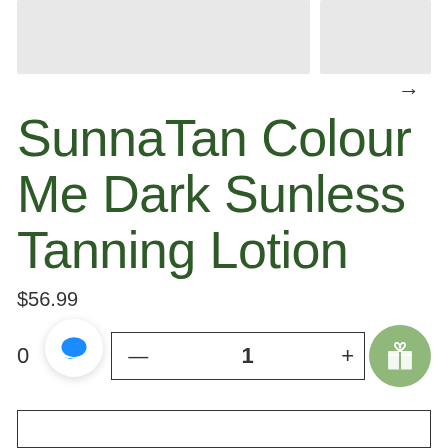[Figure (photo): Two product image placeholders (light gray rectangles) side by side]
SunnaTan Colour Me Dark Sunless Tanning Lotion
$56.99
0
[Figure (other): Quantity selector box showing minus, 1, plus with chat bubble icon and gift badge circle]